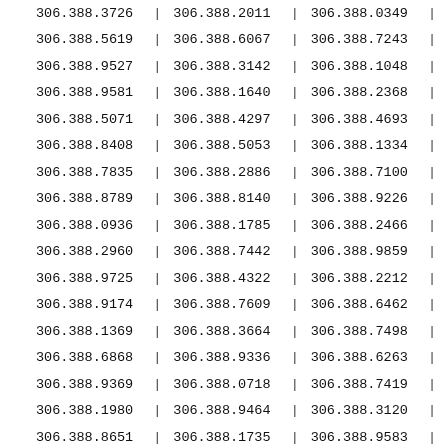| 306.388.3726 | | | 306.388.2011 | | | 306.388.0349 | | |
| 306.388.5619 | | | 306.388.6067 | | | 306.388.7243 | | |
| 306.388.9527 | | | 306.388.3142 | | | 306.388.1048 | | |
| 306.388.9581 | | | 306.388.1640 | | | 306.388.2368 | | |
| 306.388.5071 | | | 306.388.4297 | | | 306.388.4693 | | |
| 306.388.8408 | | | 306.388.5053 | | | 306.388.1334 | | |
| 306.388.7835 | | | 306.388.2886 | | | 306.388.7100 | | |
| 306.388.8789 | | | 306.388.8140 | | | 306.388.9226 | | |
| 306.388.0936 | | | 306.388.1785 | | | 306.388.2466 | | |
| 306.388.2960 | | | 306.388.7442 | | | 306.388.9859 | | |
| 306.388.9725 | | | 306.388.4322 | | | 306.388.2212 | | |
| 306.388.9174 | | | 306.388.7609 | | | 306.388.6462 | | |
| 306.388.1369 | | | 306.388.3664 | | | 306.388.7498 | | |
| 306.388.6868 | | | 306.388.9336 | | | 306.388.6263 | | |
| 306.388.9369 | | | 306.388.0718 | | | 306.388.7419 | | |
| 306.388.1980 | | | 306.388.9464 | | | 306.388.3120 | | |
| 306.388.8651 | | | 306.388.1735 | | | 306.388.9583 | | |
| 306.388.6753 | | | 306.388.9754 | | | 306.388.4537 | | |
| 306.388.3047 | | | 306.388.4843 | | | 306.388.0737 | | |